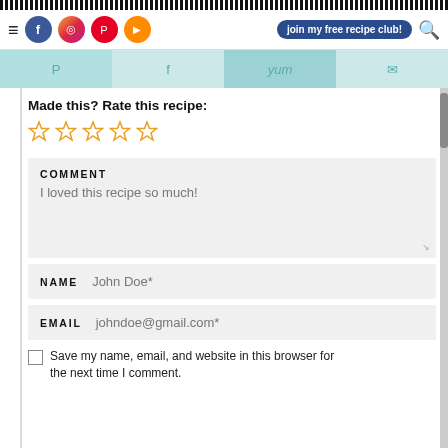Navigation bar with hamburger menu, social icons (Facebook, Instagram, Pinterest, YouTube), join my free recipe club! button, and search icon
Share bar with Pinterest, Facebook, Yum, Email buttons
Made this? Rate this recipe:
[Figure (other): Five empty star rating icons in orange/yellow outline]
COMMENT
I loved this recipe so much!
NAME  John Doe*
EMAIL  johndoe@gmail.com*
Save my name, email, and website in this browser for the next time I comment.